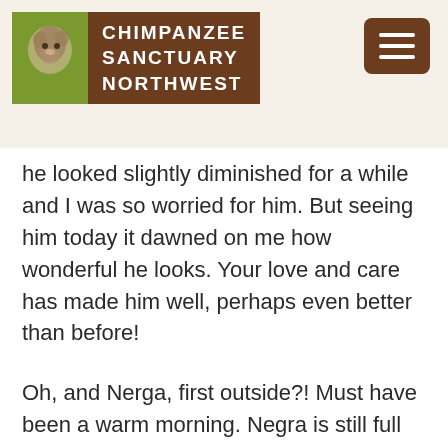CHIMPANZEE SANCTUARY NORTHWEST
he looked slightly diminished for a while and I was so worried for him. But seeing him today it dawned on me how wonderful he looks. Your love and care has made him well, perhaps even better than before!
Oh, and Nerga, first outside?! Must have been a warm morning. Negra is still full of surprises, well, when she's not being predictable under blanket nest that is. I do love seeing photos of